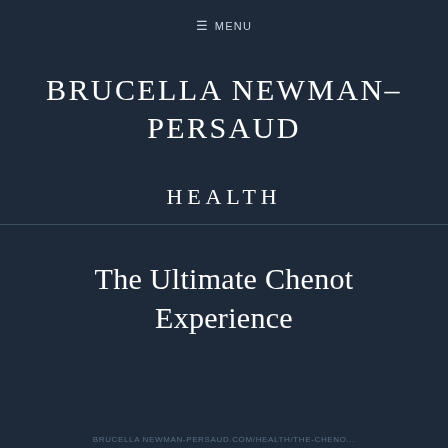≡ MENU
BRUCELLA NEWMAN–PERSAUD
HEALTH
The Ultimate Chenot Experience
BRUCELLA NEWMAN-PERSAUD.COM/HEALTH/THE-CHENO...